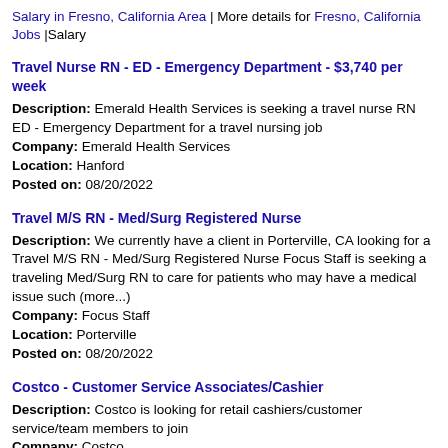Salary in Fresno, California Area | More details for Fresno, California Jobs |Salary
Travel Nurse RN - ED - Emergency Department - $3,740 per week
Description: Emerald Health Services is seeking a travel nurse RN ED - Emergency Department for a travel nursing job
Company: Emerald Health Services
Location: Hanford
Posted on: 08/20/2022
Travel M/S RN - Med/Surg Registered Nurse
Description: We currently have a client in Porterville, CA looking for a Travel M/S RN - Med/Surg Registered Nurse Focus Staff is seeking a traveling Med/Surg RN to care for patients who may have a medical issue such (more...)
Company: Focus Staff
Location: Porterville
Posted on: 08/20/2022
Costco - Customer Service Associates/Cashier
Description: Costco is looking for retail cashiers/customer service/team members to join
Company: Costco